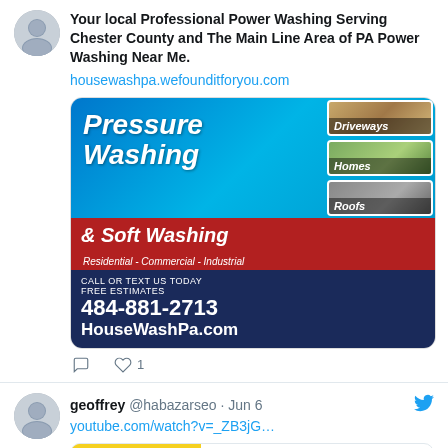Your local Professional Power Washing Serving Chester County and The Main Line Area of PA Power Washing Near Me.
housewashpa.wefounditforyou.com
[Figure (illustration): Pressure Washing & Soft Washing advertisement image showing blue water background with bold white italic text reading 'Pressure Washing & Soft Washing', red bottom section reading 'Residential - Commercial - Industrial', navy blue section with phone number 484-881-2713 and HouseWashPa.com, and right column showing three thumbnail images labeled Driveways, Homes, Roofs]
1 like
geoffrey @habazarseo · Jun 6
youtube.com/watch?v=_ZB3jG...
youtube.com